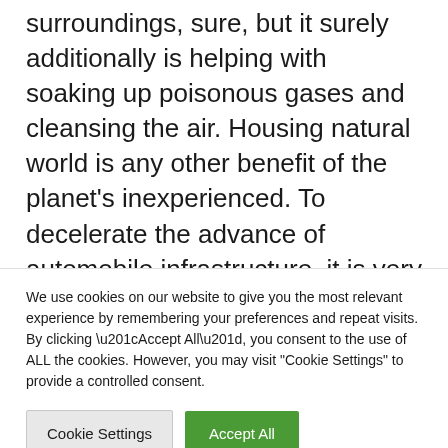surroundings, sure, but it surely additionally is helping with soaking up poisonous gases and cleansing the air. Housing natural world is any other benefit of the planet's inexperienced. To decelerate the advance of automobile infrastructure, it is very important scale back the choice of vehicles that the infrastructure is meant to cater for. Making an investment extra in bicycles will make certain that. There received't be a want to construct extra roads or make street expansions. This may
We use cookies on our website to give you the most relevant experience by remembering your preferences and repeat visits. By clicking “Accept All”, you consent to the use of ALL the cookies. However, you may visit "Cookie Settings" to provide a controlled consent.